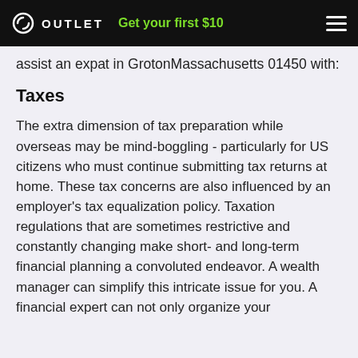OUTLET — Get your first $10
assist an expat in GrotonMassachusetts 01450 with:
Taxes
The extra dimension of tax preparation while overseas may be mind-boggling - particularly for US citizens who must continue submitting tax returns at home. These tax concerns are also influenced by an employer's tax equalization policy. Taxation regulations that are sometimes restrictive and constantly changing make short- and long-term financial planning a convoluted endeavor. A wealth manager can simplify this intricate issue for you. A financial expert can not only organize your